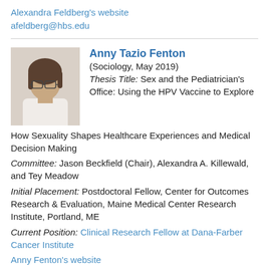Alexandra Feldberg's website
afeldberg@hbs.edu
[Figure (photo): Portrait photo of Anny Tazio Fenton, a woman with glasses and dark hair wearing a white top]
Anny Tazio Fenton
(Sociology, May 2019)
Thesis Title: Sex and the Pediatrician's Office: Using the HPV Vaccine to Explore How Sexuality Shapes Healthcare Experiences and Medical Decision Making
Committee: Jason Beckfield (Chair), Alexandra A. Killewald, and Tey Meadow
Initial Placement: Postdoctoral Fellow, Center for Outcomes Research & Evaluation, Maine Medical Center Research Institute, Portland, ME
Current Position: Clinical Research Fellow at Dana-Farber Cancer Institute
Anny Fenton's website